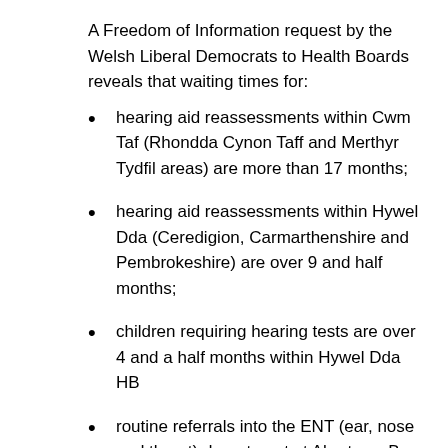A Freedom of Information request by the Welsh Liberal Democrats to Health Boards reveals that waiting times for:
hearing aid reassessments within Cwm Taf (Rhondda Cynon Taff and Merthyr Tydfil areas) are more than 17 months;
hearing aid reassessments within Hywel Dda (Ceredigion, Carmarthenshire and Pembrokeshire) are over 9 and half months;
children requiring hearing tests are over 4 and a half months within Hywel Dda HB
routine referrals into the ENT (ear, nose and throat) department at Abertawe Bro Morgannwg UHB are around 8 months.
Currently, the maximum waiting should be no more than 14 weeks.
Peter Black, Welsh   Peter Black conference